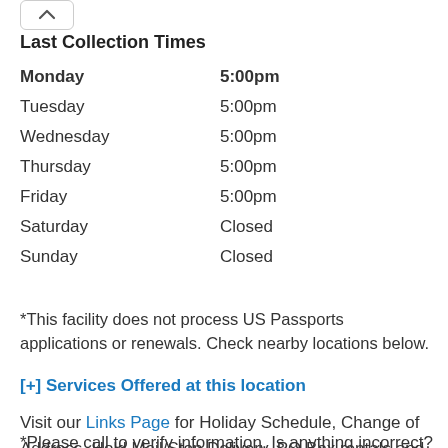Last Collection Times
| Day | Time |
| --- | --- |
| Monday | 5:00pm |
| Tuesday | 5:00pm |
| Wednesday | 5:00pm |
| Thursday | 5:00pm |
| Friday | 5:00pm |
| Saturday | Closed |
| Sunday | Closed |
*This facility does not process US Passports applications or renewals. Check nearby locations below.
[+] Services Offered at this location
Visit our Links Page for Holiday Schedule, Change of Address, Hold Mail/Stop Delivery, PO Box rentals and fees, and Available Jobs.
*Please call to verify information. Is anything incorrect? Let us